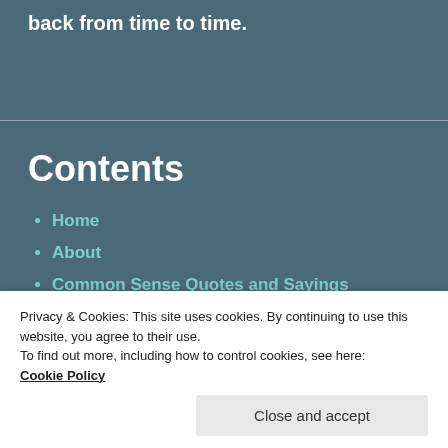back from time to time.
Contents
Home
About
Common Sense Quotes and Sayings
THE BUMPER BOOK OF COMMON SENSE
Tall Tales (Just Imagine)
Privacy & Cookies: This site uses cookies. By continuing to use this website, you agree to their use.
To find out more, including how to control cookies, see here:
Cookie Policy
Close and accept